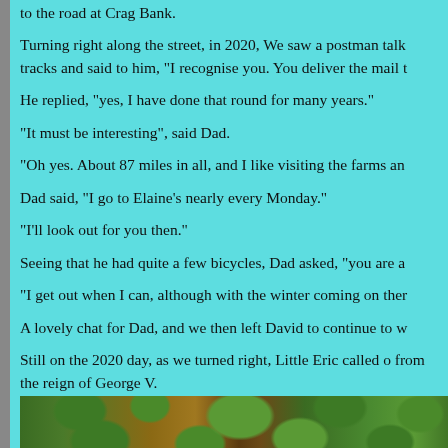to the road at Crag Bank.
Turning right along the street, in 2020, We saw a postman talk tracks and said to him, "I recognise you. You deliver the mail t
He replied, "yes, I have done that round for many years."
"It must be interesting", said Dad.
"Oh yes. About 87 miles in all, and I like visiting the farms an
Dad said, "I go to Elaine's nearly every Monday."
"I'll look out for you then."
Seeing that he had quite a few bicycles, Dad asked, "you are a
"I get out when I can, although with the winter coming on ther
A lovely chat for Dad, and we then left David to continue to w
Still on the 2020 day, as we turned right, Little Eric called o from the reign of George V.
[Figure (photo): Photograph showing green leafy plants/hedging with what appears to be wooden fence posts or similar wooden structures in the middle]